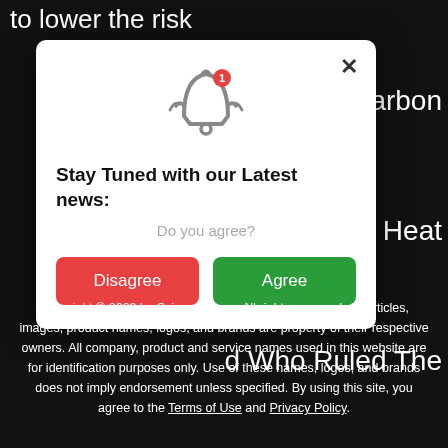to lower the risk
of Carbon
d a Dramatic Heat
d Who Ruled The
[Figure (screenshot): A newsletter subscription modal popup with a bell icon with notification badge, title 'Stay Tuned with our Latest news:', subtitle 'Do you agree?', a red Disagree button and a green Agree button, with a close X button in the top right corner.]
Copyright © 2022 by Science News. All rights reserved. All articles, images, product names, logos, and brands are property of their respective owners. All company, product and service names used in this website are for identification purposes only. Use of these names, logos, and brands does not imply endorsement unless specified. By using this site, you agree to the Terms of Use and Privacy Policy.